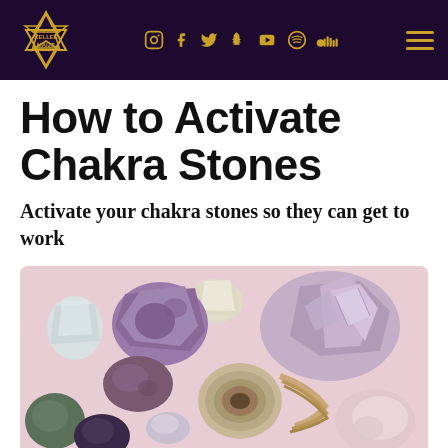Kellee Maize — navigation bar with social icons (Instagram, Facebook, Twitter, Snapchat, YouTube, Spotify, SoundCloud) and hamburger menu
How to Activate Chakra Stones
Activate your chakra stones so they can get to work
[Figure (photo): Photo of various raw and polished chakra crystals and gemstones including amethyst clusters, agate geode, rose quartz, and other colorful stones on a light pink background]